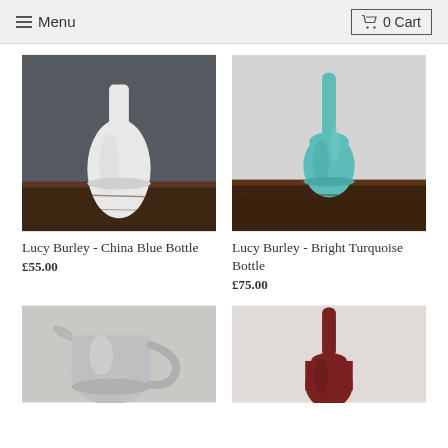Menu | 0 Cart
[Figure (photo): White ceramic bottle vase on a dark wooden surface against a dark grey background]
[Figure (photo): Turquoise ceramic bottle vase on a dark wooden surface against a light grey background]
Lucy Burley - China Blue Bottle
£55.00
Lucy Burley - Bright Turquoise Bottle
£75.00
[Figure (photo): White/grey ceramic pitcher jug on a light background]
[Figure (photo): Dark red/maroon ceramic bottle vase on a light background]